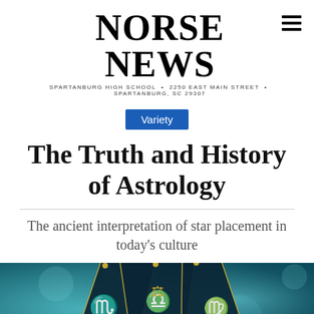NORSE NEWS
SPARTANBURG HIGH SCHOOL · 2250 EAST MAIN STREET · SPARTANBURG, SC 29307
Variety
The Truth and History of Astrology
The ancient interpretation of star placement in today's culture
[Figure (illustration): Zodiac wheel showing scorpio, libra, and virgo signs on a teal/blue bokeh background, with golden decorative elements]